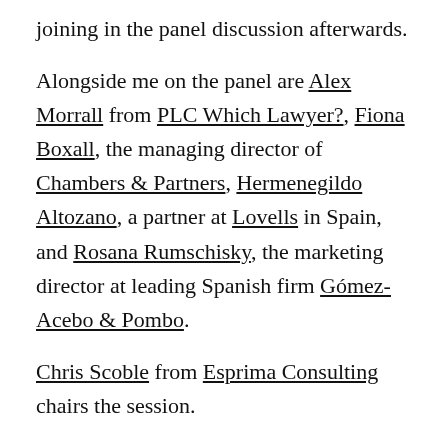joining in the panel discussion afterwards.
Alongside me on the panel are Alex Morrall from PLC Which Lawyer?, Fiona Boxall, the managing director of Chambers & Partners, Hermenegildo Altozano, a partner at Lovells in Spain, and Rosana Rumschisky, the marketing director at leading Spanish firm Gómez-Acebo & Pombo.
Chris Scoble from Esprima Consulting chairs the session.
To reserve your place, please complete the booking form and return to Carlota Sánchez